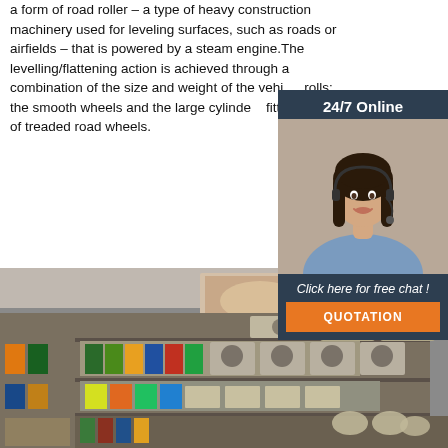a form of road roller – a type of heavy construction machinery used for leveling surfaces, such as roads or airfields – that is powered by a steam engine. The levelling/flattening action is achieved through a combination of the size and weight of the vehicle rolls: the smooth wheels and the large cylinders fitted in place of treaded road wheels.
[Figure (photo): Customer service representative woman with headset smiling, overlaid on dark navy background with '24/7 Online' text, 'Click here for free chat!' text, and orange QUOTATION button.]
Get Price
[Figure (photo): Interior photo of a store or shop with shelves stocked with various products, containers, and goods in a retail display.]